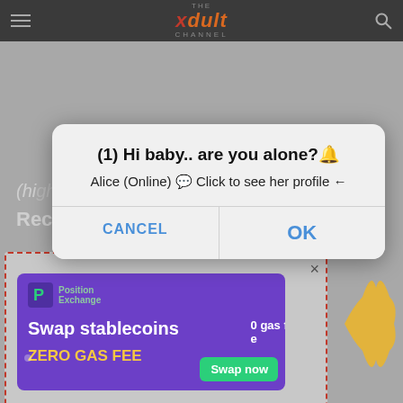THE xdult CHANNEL
(highly
Recommended)
[Figure (screenshot): A browser dialog popup with title '(1) Hi baby.. are you alone?🔔' and subtitle 'Alice (Online) 💬 Click to see her profile ←', with CANCEL and OK buttons.]
[Figure (screenshot): An advertisement banner for Position Exchange showing 'Swap stablecoins' and 'ZERO GAS FEE' text with a 'Swap now' green button, inside a dashed red border container with a close (×) button.]